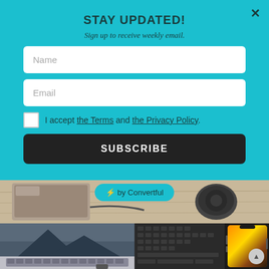STAY UPDATED!
Sign up to receive weekly email.
Name
Email
I accept the Terms and the Privacy Policy.
SUBSCRIBE
⚡ by Convertful
[Figure (photo): Tech desk scene showing laptops, a wireless charging stand, and a smartphone on a wooden desk surface, arranged in a collage of three panels.]